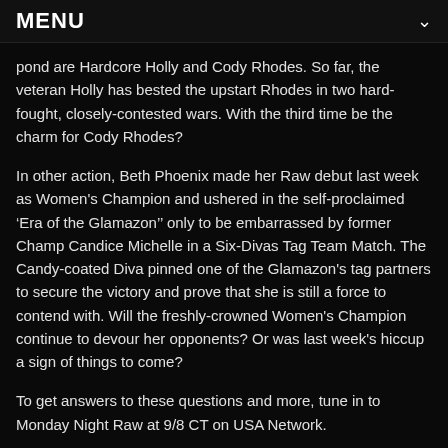MENU
pond are Hardcore Holly and Cody Rhodes. So far, the veteran Holly has bested the upstart Rhodes in two hard-fought, closely-contested wars. With the third time be the charm for Cody Rhodes?
In other action, Beth Phoenix made her Raw debut last week as Women's Champion and ushered in the self-proclaimed 'Era of the Glamazon'’ only to be embarrassed by former Champ Candice Michelle in a Six-Divas Tag Team Match. The Candy-coated Diva pinned one of the Glamazon's tag partners to secure the victory and prove that she is still a force to contend with. Will the freshly-crowned Women's Champion continue to devour her opponents? Or was last week's hiccup a sign of things to come?
To get answers to these questions and more, tune in to Monday Night Raw at 9/8 CT on USA Network.